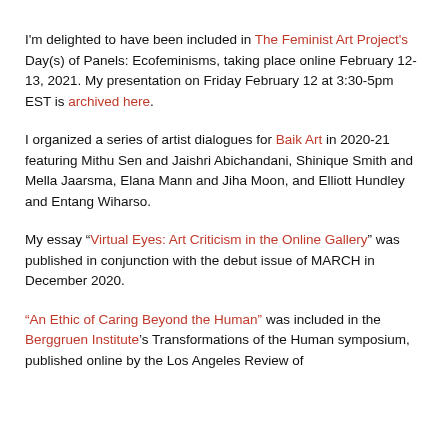I'm delighted to have been included in The Feminist Art Project's Day(s) of Panels: Ecofeminisms, taking place online February 12-13, 2021. My presentation on Friday February 12 at 3:30-5pm EST is archived here.
I organized a series of artist dialogues for Baik Art in 2020-21 featuring Mithu Sen and Jaishri Abichandani, Shinique Smith and Mella Jaarsma, Elana Mann and Jiha Moon, and Elliott Hundley and Entang Wiharso.
My essay “Virtual Eyes: Art Criticism in the Online Gallery” was published in conjunction with the debut issue of MARCH in December 2020.
“An Ethic of Caring Beyond the Human” was included in the Berggruen Institute’s Transformations of the Human symposium, published online by the Los Angeles Review of